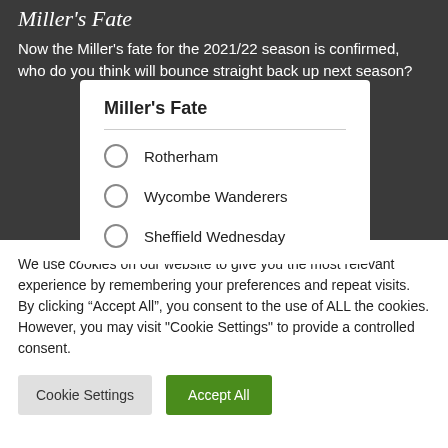Miller's Fate
Now the Miller's fate for the 2021/22 season is confirmed, who do you think will bounce straight back up next season?
[Figure (other): Poll widget titled 'Miller's Fate' with three radio button options: Rotherham, Wycombe Wanderers, Sheffield Wednesday]
We use cookies on our website to give you the most relevant experience by remembering your preferences and repeat visits. By clicking “Accept All”, you consent to the use of ALL the cookies. However, you may visit "Cookie Settings" to provide a controlled consent.
Cookie Settings
Accept All